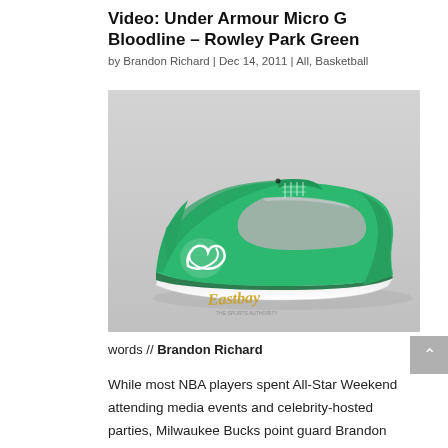Video: Under Armour Micro G Bloodline – Rowley Park Green
by Brandon Richard | Dec 14, 2011 | All, Basketball
[Figure (photo): Side profile of a green and grey Under Armour Micro G Bloodline basketball shoe with white Under Armour logo and white sole, with Eastbay watermark at the bottom.]
words // Brandon Richard
While most NBA players spent All-Star Weekend attending media events and celebrity-hosted parties, Milwaukee Bucks point guard Brandon Jennings traveled back to his hometown of Gardena, California along with Under Armour to refurbish his childhood basketball court and surprise the community.